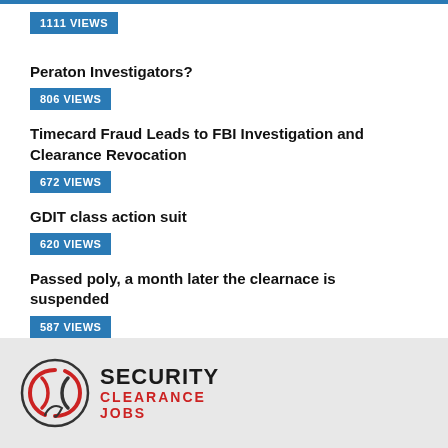1111 VIEWS
Peraton Investigators?
806 VIEWS
Timecard Fraud Leads to FBI Investigation and Clearance Revocation
672 VIEWS
GDIT class action suit
620 VIEWS
Passed poly, a month later the clearnace is suspended
587 VIEWS
SECURITY CLEARANCE JOBS